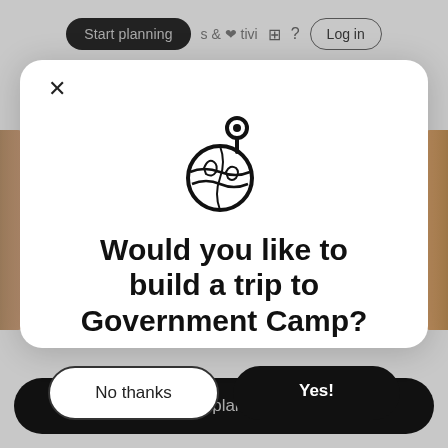Start planning  ❤  Activities  ?  Log in
[Figure (screenshot): Modal dialog with globe and location pin icon, asking user to build a trip to Government Camp, with No thanks and Yes! buttons]
Would you like to build a trip to Government Camp?
No thanks
Yes!
Start planning